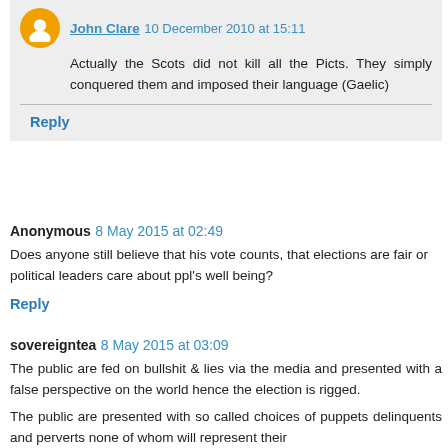John Clare 10 December 2010 at 15:11
Actually the Scots did not kill all the Picts. They simply conquered them and imposed their language (Gaelic)
Reply
Anonymous 8 May 2015 at 02:49
Does anyone still believe that his vote counts, that elections are fair or political leaders care about ppl's well being?
Reply
sovereigntea 8 May 2015 at 03:09
The public are fed on bullshit & lies via the media and presented with a false perspective on the world hence the election is rigged.
The public are presented with so called choices of puppets delinquents and perverts none of whom will represent their